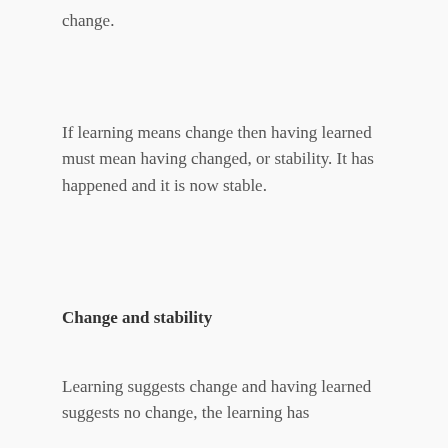change.
If learning means change then having learned must mean having changed, or stability. It has happened and it is now stable.
Change and stability
Learning suggests change and having learned suggests no change, the learning has